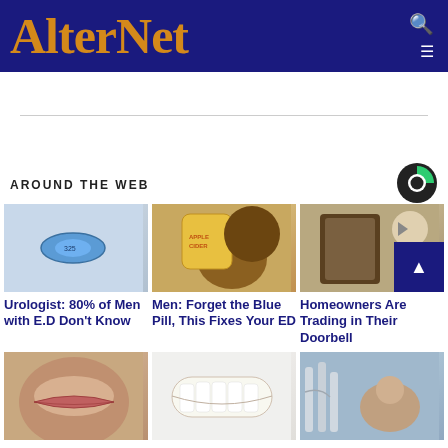AlterNet
AROUND THE WEB
Urologist: 80% of Men with E.D Don't Know
Men: Forget the Blue Pill, This Fixes Your ED
Homeowners Are Trading in Their Doorbell
[Figure (photo): Close-up of wrinkled lips]
[Figure (photo): Close-up of white teeth smiling]
[Figure (photo): Person in medical setting smiling]